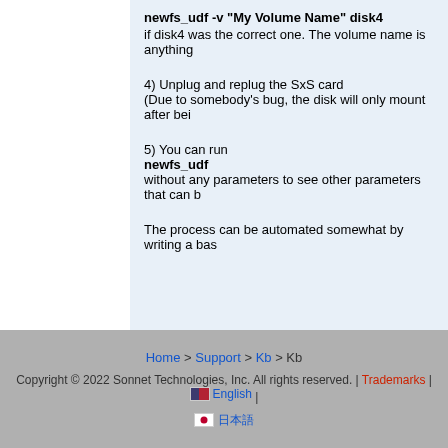newfs_udf -v "My Volume Name" disk4
if disk4 was the correct one. The volume name is anything
4) Unplug and replug the SxS card
(Due to somebody's bug, the disk will only mount after bei
5) You can run
newfs_udf
without any parameters to see other parameters that can b
The process can be automated somewhat by writing a bas
Home > Support > Kb > Kb
Copyright © 2022 Sonnet Technologies, Inc. All rights reserved. | Trademarks | English